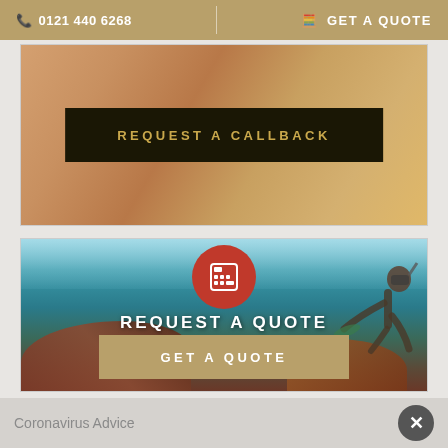📞 0121 440 6268   |   🧮 GET A QUOTE
[Figure (screenshot): Partial image of food/objects with a dark centered banner reading REQUEST A CALLBACK in gold text on black background]
REQUEST A CALLBACK
[Figure (photo): Underwater coral reef scene with a snorkeler/diver visible. A red circle with a calculator icon is shown at the top center. Text reads REQUEST A QUOTE with a gold GET A QUOTE button below.]
REQUEST A QUOTE
GET A QUOTE
[Figure (photo): Partial view of two images at the bottom of the page]
Coronavirus Advice